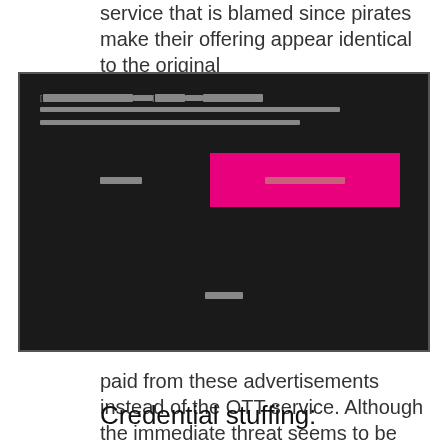service that is blamed since pirates make their offering appear identical to the original
[Figure (screenshot): Dark-themed modal dialog box with placeholder text (rendered as gray blocks) and a pink/magenta confirmation button on the right, a cancel text link on the left, and a smaller link below.]
paid from these advertisements instead of the OTT service. Although the immediate threat seems to be revenue, this can also cause issues in reputation if the ads do not align with the originating company's values.
Credential stuffing: